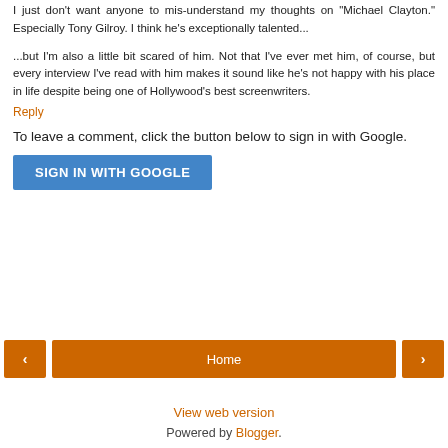I just don't want anyone to mis-understand my thoughts on "Michael Clayton." Especially Tony Gilroy. I think he's exceptionally talented...
...but I'm also a little bit scared of him. Not that I've ever met him, of course, but every interview I've read with him makes it sound like he's not happy with his place in life despite being one of Hollywood's best screenwriters.
Reply
To leave a comment, click the button below to sign in with Google.
[Figure (other): SIGN IN WITH GOOGLE button (blue rectangle)]
[Figure (other): Navigation row with left arrow button (orange), Home button (orange), right arrow button (orange)]
View web version
Powered by Blogger.